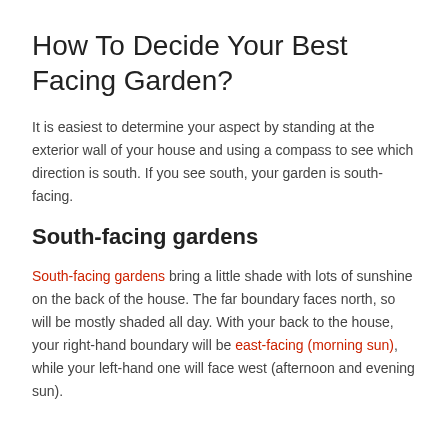How To Decide Your Best Facing Garden?
It is easiest to determine your aspect by standing at the exterior wall of your house and using a compass to see which direction is south. If you see south, your garden is south-facing.
South-facing gardens
South-facing gardens bring a little shade with lots of sunshine on the back of the house. The far boundary faces north, so will be mostly shaded all day. With your back to the house, your right-hand boundary will be east-facing (morning sun), while your left-hand one will face west (afternoon and evening sun).